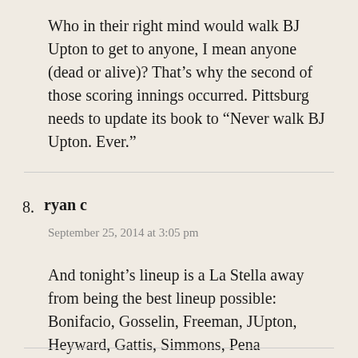Who in their right mind would walk BJ Upton to get to anyone, I mean anyone (dead or alive)? That’s why the second of those scoring innings occurred. Pittsburg needs to update its book to “Never walk BJ Upton. Ever.”
8. ryan c
September 25, 2014 at 3:05 pm
And tonight’s lineup is a La Stella away from being the best lineup possible: Bonifacio, Gosselin, Freeman, JUpton, Heyward, Gattis, Simmons, Pena